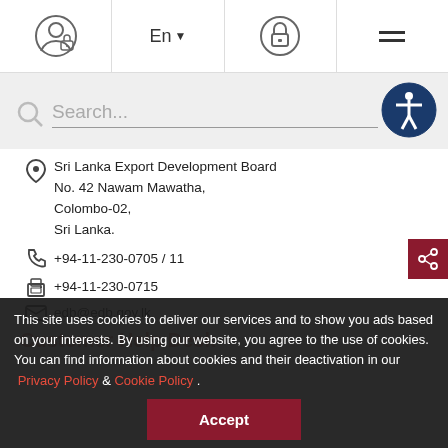[Figure (screenshot): Website navigation bar with user/lock icon, language selector 'En', padlock icon, and hamburger menu icon]
[Figure (screenshot): Search bar with magnifying glass icon and accessibility button (person in circle icon) on grey background]
Sri Lanka Export Development Board
No. 42 Nawam Mawatha,
Colombo-02,
Sri Lanka.
+94-11-230-0705 / 11
+94-11-230-0715
edb@edb.gov.lk
Customer Help Desk
This site uses cookies to deliver our services and to show you ads based on your interests. By using our website, you agree to the use of cookies. You can find information about cookies and their deactivation in our Privacy Policy & Cookie Policy .